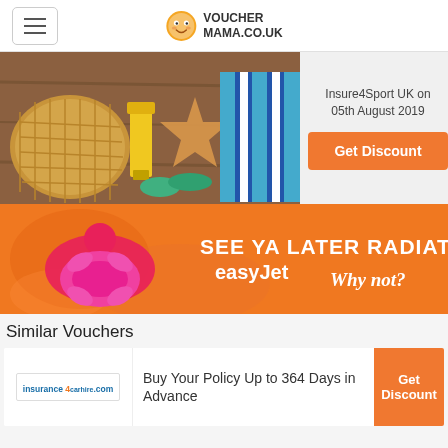VOUCHERMAMA.CO.UK
[Figure (photo): Beach scene with straw bag, starfish, yellow drink, and striped towel on wooden surface]
Insure4Sport UK on 05th August 2019
Get Discount
[Figure (photo): EasyJet advertisement banner with orange background showing people in pool with text SEE YA LATER RADIATOR easyJet Why not?]
Similar Vouchers
[Figure (logo): Insurance 4 Car Hire logo]
Buy Your Policy Up to 364 Days in Advance
Get Discount